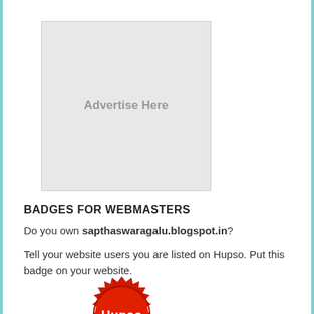[Figure (other): Gray advertisement placeholder box with text 'Advertise Here']
BADGES FOR WEBMASTERS
Do you own sapthaswaragalu.blogspot.in?
Tell your website users you are listed on Hupso. Put this badge on your website.
[Figure (logo): Hupso red seal/badge logo with white text 'Hupso']